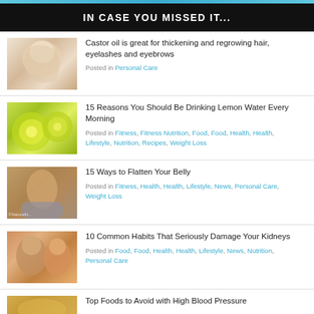[Figure (photo): Teal/blue banner strip at top of page]
IN CASE YOU MISSED IT...
Castor oil is great for thickening and regrowing hair, eyelashes and eyebrows
Posted in Personal Care
15 Reasons You Should Be Drinking Lemon Water Every Morning
Posted in Fitness, Fitness Nutrition, Food, Food, Health, Health, Lifestyle, Nutrition, Recipes, Weight Loss
15 Ways to Flatten Your Belly
Posted in Fitness, Health, Health, Lifestyle, News, Personal Care, Weight Loss
10 Common Habits That Seriously Damage Your Kidneys
Posted in Food, Food, Health, Health, Lifestyle, News, Nutrition, Personal Care
Top Foods to Avoid with High Blood Pressure